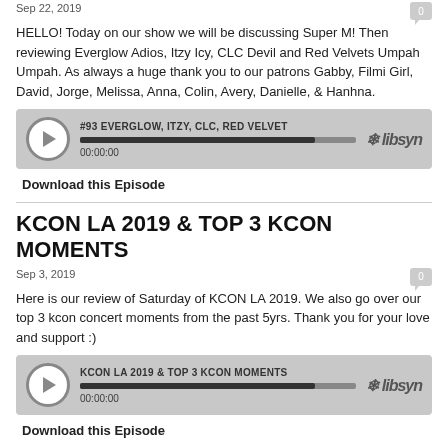Sep 22, 2019
HELLO! Today on our show we will be discussing Super M! Then reviewing Everglow Adios, Itzy Icy, CLC Devil and Red Velvets Umpah Umpah. As always a huge thank you to our patrons Gabby, Filmi Girl, David, Jorge, Melissa, Anna, Colin, Avery, Danielle, & Hanhna.
[Figure (other): Podcast audio player widget for episode #93 EVERGLOW, ITZY, CLC, RED VELVET showing a play button, progress bar, and timestamp 00:00:00 with libsyn branding]
Download this Episode
KCON LA 2019 & TOP 3 KCON MOMENTS
Sep 3, 2019
Here is our review of Saturday of KCON LA 2019. We also go over our top 3 kcon concert moments from the past 5yrs. Thank you for your love and support :)
[Figure (other): Podcast audio player widget for episode KCON LA 2019 & TOP 3 KCON MOMENTS showing a play button, progress bar, and timestamp 00:00:00 with libsyn branding]
Download this Episode